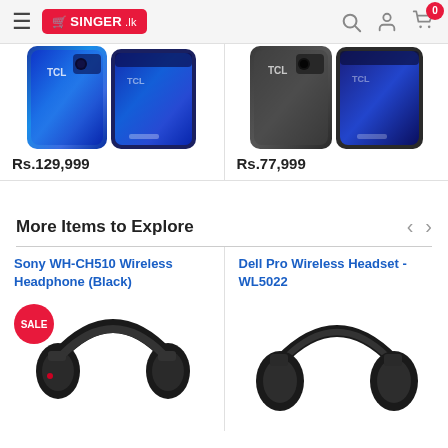SINGER.lk
[Figure (photo): TCL smartphone shown from front and back, blue color, partial view cropped at top]
Rs.129,999
[Figure (photo): TCL smartphone shown from front and back, dark/black color, partial view cropped at top]
Rs.77,999
More Items to Explore
Sony WH-CH510 Wireless Headphone (Black)
[Figure (photo): Sony WH-CH510 black wireless headphone with SALE badge]
Dell Pro Wireless Headset - WL5022
[Figure (photo): Dell Pro Wireless Headset WL5022 black headphone]